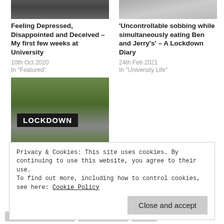[Figure (photo): Photo of a person (appears to be in formal/dark clothing)]
Feeling Depressed, Disappointed and Deceived – My first few weeks at University
10th Oct 2020
In "Featured"
[Figure (photo): Photo of a desk with papers and stationery]
'Uncontrollable sobbing while simultaneously eating Ben and Jerry's' – A Lockdown Diary
24th Feb 2021
In "University Life"
[Figure (photo): Photo of a LOCKDOWN sign with flowers/foliage around it]
150 Days and Counting: Leicester in Lockdown
Privacy & Cookies: This site uses cookies. By continuing to use this website, you agree to their use.
To find out more, including how to control cookies, see here: Cookie Policy
EDITOR: ELLA JOHNSON
MENTAL HEALTH
OP-ED